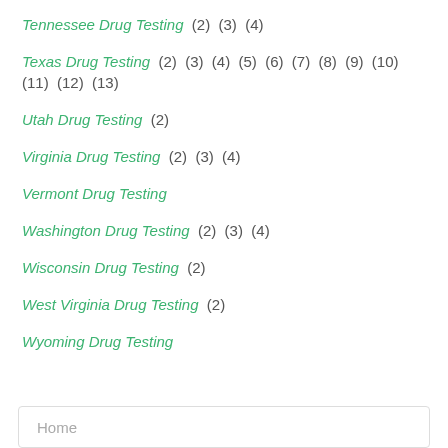Tennessee Drug Testing  (2)  (3)  (4)
Texas Drug Testing  (2)  (3)  (4)  (5)  (6)  (7)  (8)  (9)  (10)  (11)  (12)  (13)
Utah Drug Testing  (2)
Virginia Drug Testing  (2)  (3)  (4)
Vermont Drug Testing
Washington Drug Testing  (2)  (3)  (4)
Wisconsin Drug Testing  (2)
West Virginia Drug Testing  (2)
Wyoming Drug Testing
Home